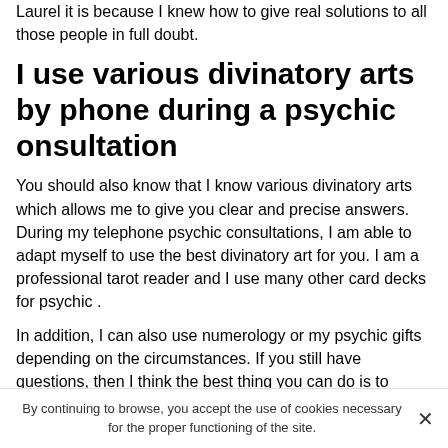Laurel it is because I knew how to give real solutions to all those people in full doubt.
I use various divinatory arts by phone during a psychic onsultation
You should also know that I know various divinatory arts which allows me to give you clear and precise answers. During my telephone psychic consultations, I am able to adapt myself to use the best divinatory art for you. I am a professional tarot reader and I use many other card decks for psychic .
In addition, I can also use numerology or my psychic gifts depending on the circumstances. If you still have questions, then I think the best thing you can do is to simply call my psychic numerologist in Gulfport and I will answer your questions. Furthermore, I reiterate that it is
By continuing to browse, you accept the use of cookies necessary for the proper functioning of the site.